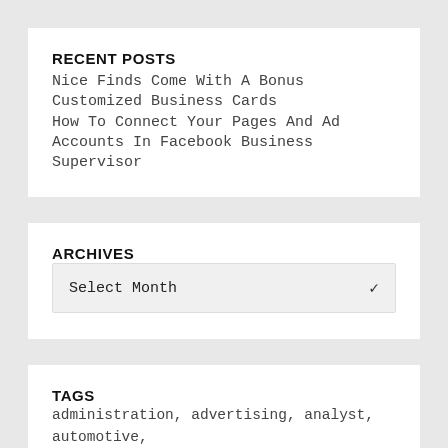RECENT POSTS
Nice Finds Come With A Bonus
Customized Business Cards
How To Connect Your Pages And Ad Accounts In Facebook Business Supervisor
ARCHIVES
Select Month
TAGS
administration, advertising, analyst, automotive,